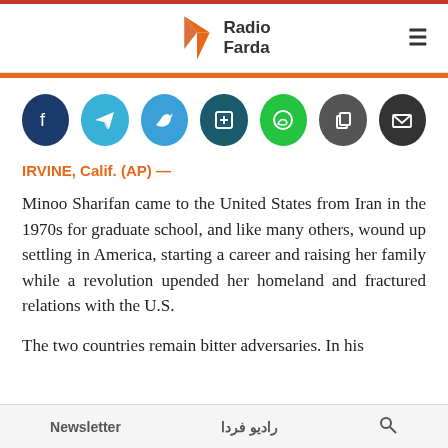Radio Farda
[Figure (infographic): Social media sharing icons: Facebook (dark blue), Telegram (light blue), Twitter (blue), Add/bookmark (dark teal), WhatsApp (green), Copy (dark gray), Email (dark gray)]
IRVINE, Calif. (AP) —
Minoo Sharifan came to the United States from Iran in the 1970s for graduate school, and like many others, wound up settling in America, starting a career and raising her family while a revolution upended her homeland and fractured relations with the U.S.
The two countries remain bitter adversaries. In his
Newsletter    رادیو فردا    🔍